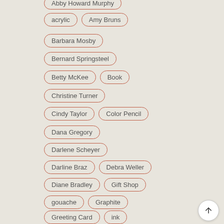acrylic
Amy Bruns
Barbara Mosby
Bernard Springsteel
Betty McKee
Book
Christine Turner
Cindy Taylor
Color Pencil
Dana Gregory
Darlene Scheyer
Darline Braz
Debra Weller
Diane Bradley
Gift Shop
gouache
Graphite
Greeting Card
ink
Janal Koenig